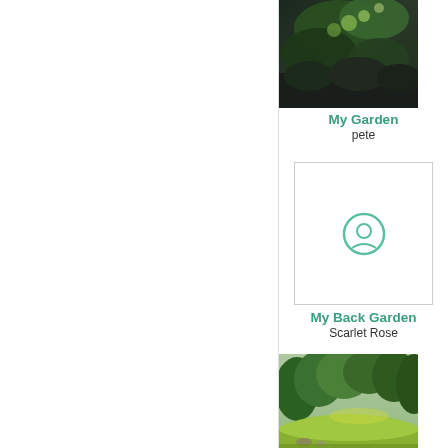[Figure (photo): Photo of garden plants with dark and green foliage]
My Garden
pete
[Figure (photo): Placeholder image with a smiley face icon]
My Back Garden
Scarlet Rose
[Figure (photo): Photo of a lush green garden with lawn and shrubs]
My Garden
Patricia Jones
[Figure (photo): Photo of autumn trees with red and green foliage]